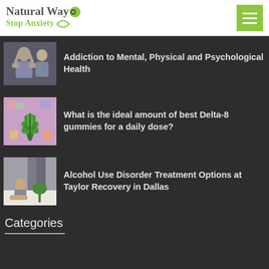Natural Way Stop Anxiety
Addiction to Mental, Physical and Psychological Health
What is the ideal amount of best Delta-8 gummies for a daily dose?
Alcohol Use Disorder Treatment Options at Taylor Recovery in Dallas
Categories